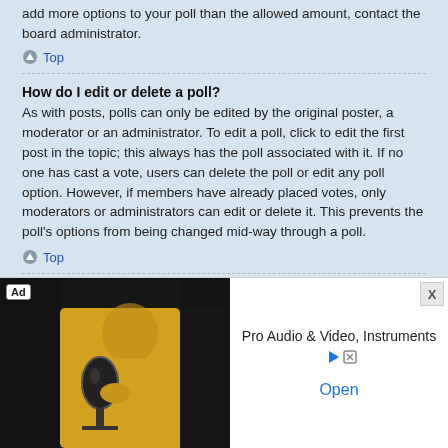add more options to your poll than the allowed amount, contact the board administrator.
Top
How do I edit or delete a poll?
As with posts, polls can only be edited by the original poster, a moderator or an administrator. To edit a poll, click to edit the first post in the topic; this always has the poll associated with it. If no one has cast a vote, users can delete the poll or edit any poll option. However, if members have already placed votes, only moderators or administrators can edit or delete it. This prevents the poll's options from being changed mid-way through a poll.
Top
Why can't I access a forum?
Some forums may be limited to certain users or groups. To view, read, post or perform another action you may need special permissions. Contact a moderator or board administrator to grant you access.
Top
[Figure (screenshot): Advertisement banner: Pro Audio & Video, Instruments with an Open button and a photo of a person at a microphone]